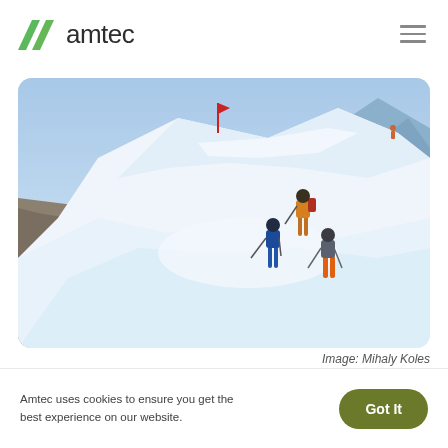[Figure (logo): Amtec logo with green chevron/arrow icon and 'amtec' wordmark in dark gray]
[Figure (photo): Aerial/elevated view of three people ski touring on a snowy mountain ridge. One person in orange jacket leads, one in blue jacket with poles follows, one in gray jacket and orange pants is third. Bright sunny day, dramatic snow-covered peaks and rocks in background.]
Image: Mihaly Koles
Amtec uses cookies to ensure you get the best experience on our website.